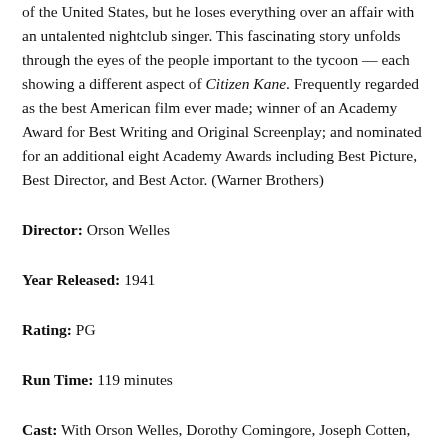of the United States, but he loses everything over an affair with an untalented nightclub singer. This fascinating story unfolds through the eyes of the people important to the tycoon — each showing a different aspect of Citizen Kane. Frequently regarded as the best American film ever made; winner of an Academy Award for Best Writing and Original Screenplay; and nominated for an additional eight Academy Awards including Best Picture, Best Director, and Best Actor. (Warner Brothers)
Director: Orson Welles
Year Released: 1941
Rating: PG
Run Time: 119 minutes
Cast: With Orson Welles, Dorothy Comingore, Joseph Cotten,